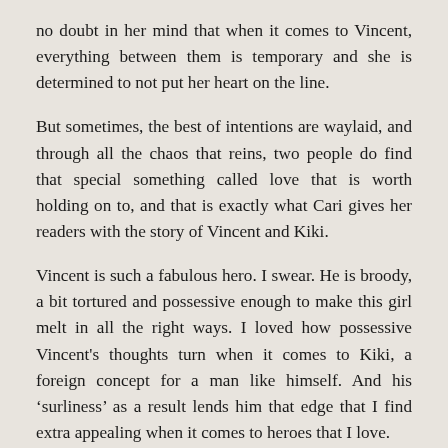no doubt in her mind that when it comes to Vincent, everything between them is temporary and she is determined to not put her heart on the line.
But sometimes, the best of intentions are waylaid, and through all the chaos that reins, two people do find that special something called love that is worth holding on to, and that is exactly what Cari gives her readers with the story of Vincent and Kiki.
Vincent is such a fabulous hero. I swear. He is broody, a bit tortured and possessive enough to make this girl melt in all the right ways. I loved how possessive Vincent's thoughts turn when it comes to Kiki, a foreign concept for a man like himself. And his ‘surliness’ as a result lends him that edge that I find extra appealing when it comes to heroes that I love. And… He’s pretty sure no one notices… but they do.